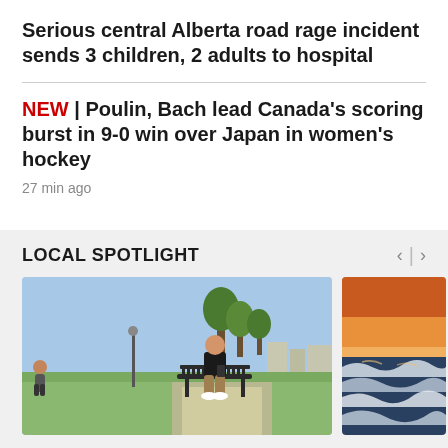Serious central Alberta road rage incident sends 3 children, 2 adults to hospital
NEW | Poulin, Bach lead Canada's scoring burst in 9-0 win over Japan in women's hockey
27 min ago
LOCAL SPOTLIGHT
[Figure (photo): Person sitting on a park bench looking at a phone, outdoor setting with trees and path]
[Figure (photo): Rough ocean waves at sunset with warm orange sky]